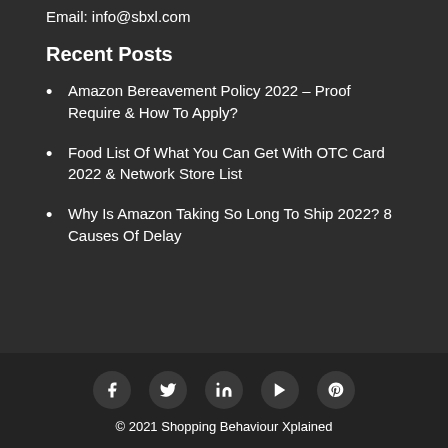Email: info@sbxl.com
Recent Posts
Amazon Bereavement Policy 2022 – Proof Require & How To Apply?
Food List Of What You Can Get With OTC Card 2022 & Network Store List
Why Is Amazon Taking So Long To Ship 2022? 8 Causes Of Delay
[Figure (infographic): Social media icons: Facebook, Twitter, LinkedIn, YouTube, Pinterest]
© 2021 Shopping Behaviour Xplained